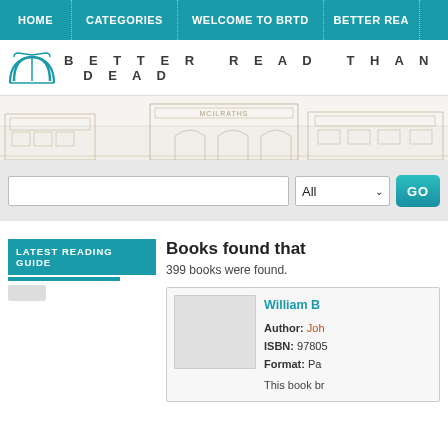HOME | CATEGORIES | WELCOME TO BRTD | BETTER READ
[Figure (logo): Better Read Than Dead bookstore logo with open book icon and spaced text BETTER READ THAN DEAD]
[Figure (illustration): Sketch/line-art illustration of a building row including Mcilraths storefront]
[Figure (screenshot): Search bar with text input, All dropdown selector, and GO button]
LATEST READING GUIDE
Books found that
399 books were found.
William B
Author: Joh
ISBN: 97805
Format: Pa
This book br